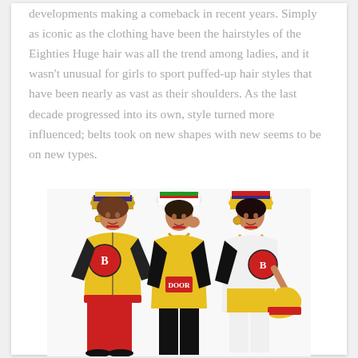developments making a comeback in recent years. Simply as iconic as the clothing have been the hairstyles of the Eighties Huge hair was all the trend among ladies, and it wasn't unusual for girls to sport puffed-up hair styles that have been nearly as vast as their shoulders. As the last decade progressed into its own, style turned more influenced; belts took on new shapes with new seems to be on new types.
[Figure (photo): Three people dressed in colorful 1980s hip-hop fashion, wearing decorative hats, yellow and red jackets with logos, gold chains, and red pants, posing against a white background.]